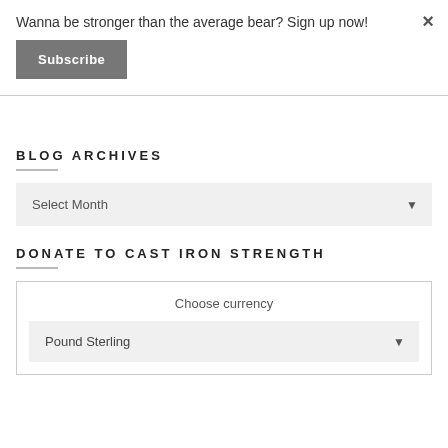Wanna be stronger than the average bear? Sign up now!
Subscribe
×
BLOG ARCHIVES
Select Month
DONATE TO CAST IRON STRENGTH
Choose currency
Pound Sterling